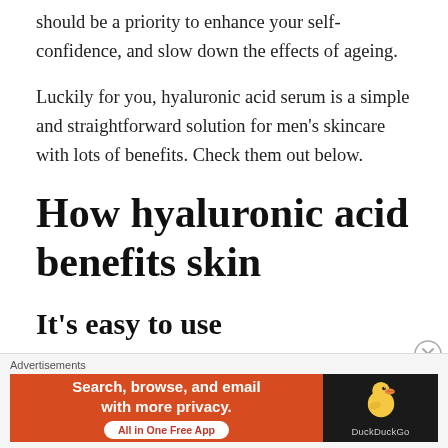should be a priority to enhance your self-confidence, and slow down the effects of ageing.
Luckily for you, hyaluronic acid serum is a simple and straightforward solution for men's skincare with lots of benefits. Check them out below.
How hyaluronic acid benefits skin
It's easy to use
As we've already touched on, the sheer moisturising power
[Figure (screenshot): DuckDuckGo advertisement banner with orange background on left reading 'Search, browse, and email with more privacy. All in One Free App' and dark background on right with DuckDuckGo logo and duck icon.]